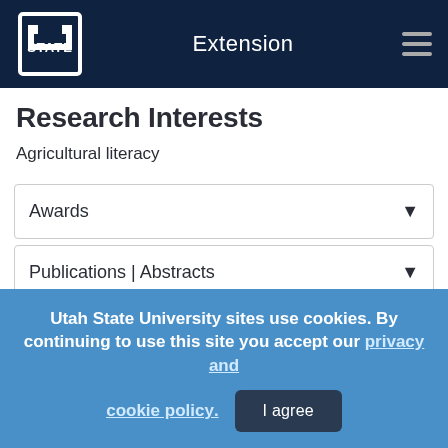Extension
Research Interests
Agricultural literacy
Awards
Publications | Abstracts
Publications | Curriculum
Utah State University sites use cookies. By continuing to use this site you accept our privacy and cookie policy.